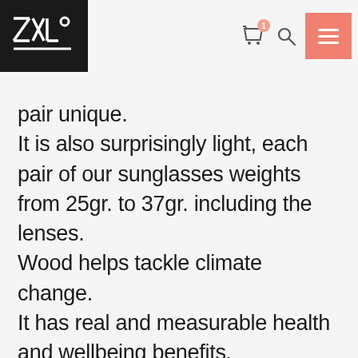ZXL° logo with navigation icons
pair unique. It is also surprisingly light, each pair of our sunglasses weights from 25gr. to 37gr. including the lenses. Wood helps tackle climate change. It has real and measurable health and wellbeing benefits. Last but not least, wood is naturally beautiful and aesthetically pleasing.